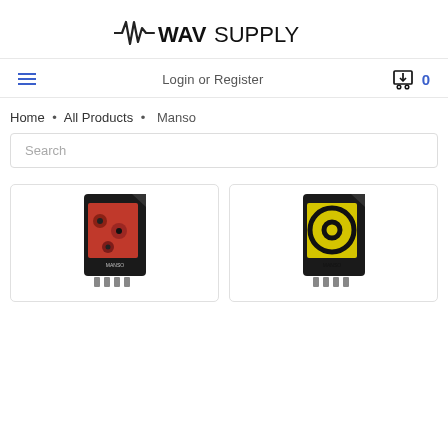[Figure (logo): WAVSupply logo with waveform graphic and bold text]
Login or Register  0
Home • All Products • Manso
Search
[Figure (photo): SD card product with colorful eye/gear artwork on red background]
[Figure (photo): SD card product with black and yellow spiral artwork]